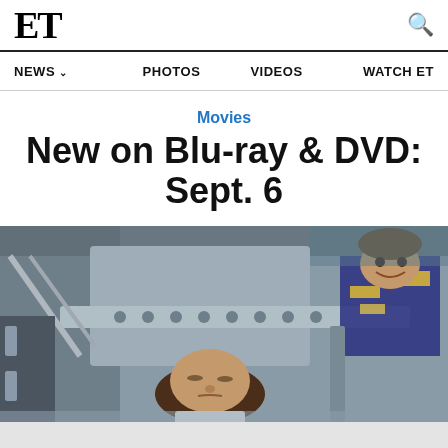ET
NEWS  PHOTOS  VIDEOS  WATCH ET
Movies
New on Blu-ray & DVD: Sept. 6
[Figure (photo): Two people in what appears to be a spacecraft or aircraft cockpit set — one man in the foreground squinting upward, another smiling person visible in the background upper right, surrounded by grey mechanical structures.]